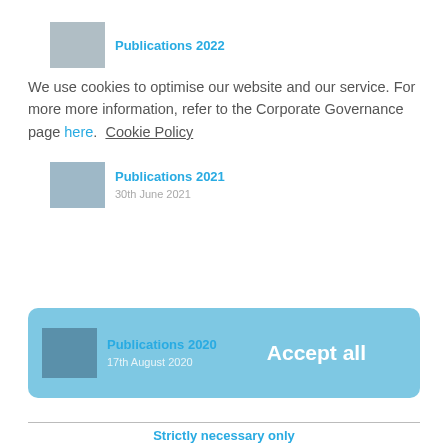Publications 2022
We use cookies to optimise our website and our service. For more more information, refer to the Corporate Governance page here.  Cookie Policy
Publications 2021 · 30th June 2021
Publications 2020 · 17th August 2020
Accept all
Strictly necessary only
© 2022 Educational Research Centre  DCU St Patrick's College Campus, Drumcondra, Dublin 9, D09 AN2F  Telephone: +353 1 8373789
View preferences
Fax: +353 1 8378997 | Email: info@erc.ie
| Customer Charter | Freedom of Information | Data Protection | Code of Conduct | Equality | Access to Information on the Environment